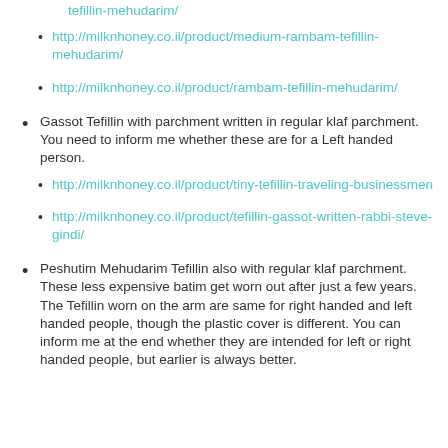http://milknhoney.co.il/product/medium-rambam-tefillin-mehudarim/
http://milknhoney.co.il/product/rambam-tefillin-mehudarim/
Gassot Tefillin with parchment written in regular klaf parchment.  You need to inform me whether these are for a Left handed person.
http://milknhoney.co.il/product/tiny-tefillin-traveling-businessmen
http://milknhoney.co.il/product/tefillin-gassot-written-rabbi-steve-gindi/
Peshutim Mehudarim Tefillin also with  regular klaf parchment. These less expensive batim get worn out after just a few years. The Tefillin worn on the arm are same for right handed and left handed people, though the plastic cover is different. You can inform me at the end whether they are intended for left or right handed people, but earlier is always better.